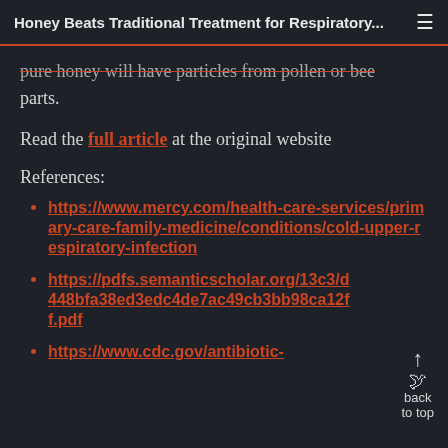Honey Beats Traditional Treatment for Respiratory...
pure honey will have particles from pollen or bee parts.
Read the full article at the original website
References:
https://www.mercy.com/health-care-services/primary-care-family-medicine/conditions/cold-upper-respiratory-infection
https://pdfs.semanticscholar.org/13c3/d448bfa38ed3edc4de7ac49cb3bb98ca12ff.pdf
https://www.cdc.gov/antibiotic-